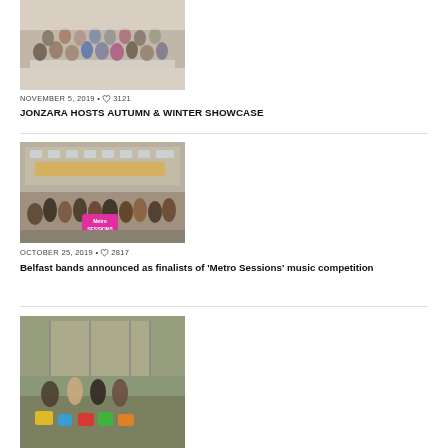[Figure (photo): Group photo of people seated and standing indoors at a showcase event]
NOVEMBER 5, 2019 • ♡3121
JONZARA HOSTS AUTUMN & WINTER SHOWCASE
[Figure (photo): Group of young people standing outside a building holding a pink Metro Sessions banner]
OCTOBER 25, 2019 • ♡2817
Belfast bands announced as finalists of 'Metro Sessions' music competition
[Figure (photo): People standing outdoors at what appears to be a construction or outdoor site]